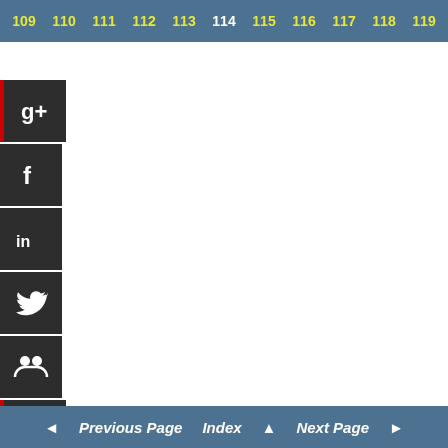109 110 111 112 113 114 115 116 117 118 119
[Figure (infographic): Social media sharing sidebar with icons for Google+, Facebook, LinkedIn, Twitter, a people/community icon, and StumbleUpon]
◄ Previous Page   Index ▲   Next Page ►